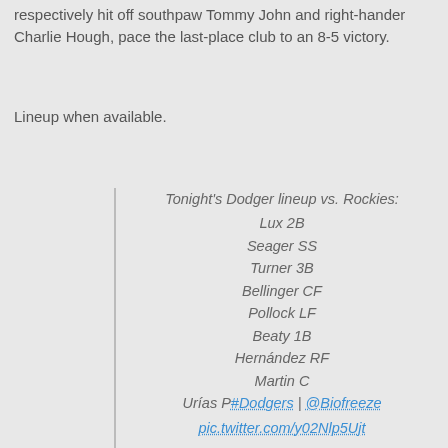respectively hit off southpaw Tommy John and right-hander Charlie Hough, pace the last-place club to an 8-5 victory.
Lineup when available.
Tonight's Dodger lineup vs. Rockies:
Lux 2B
Seager SS
Turner 3B
Bellinger CF
Pollock LF
Beaty 1B
Hernández RF
Martin C
Urías P#Dodgers | @Biofreeze
pic.twitter.com/y02Nlp5Ujt